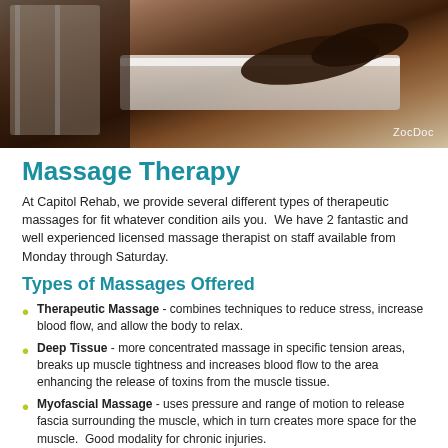[Figure (photo): A massage therapy table with white towels and a therapist's hands, with ZocDoc watermark in bottom right corner.]
Massage Therapy
At Capitol Rehab, we provide several different types of therapeutic massages for fit whatever condition ails you.  We have 2 fantastic and well experienced licensed massage therapist on staff available from Monday through Saturday.
Types of Massages Offered
Therapeutic Massage - combines techniques to reduce stress, increase blood flow, and allow the body to relax.
Deep Tissue - more concentrated massage in specific tension areas, breaks up muscle tightness and increases blood flow to the area enhancing the release of toxins from the muscle tissue.
Myofascial Massage - uses pressure and range of motion to release fascia surrounding the muscle, which in turn creates more space for the muscle.  Good modality for chronic injuries.